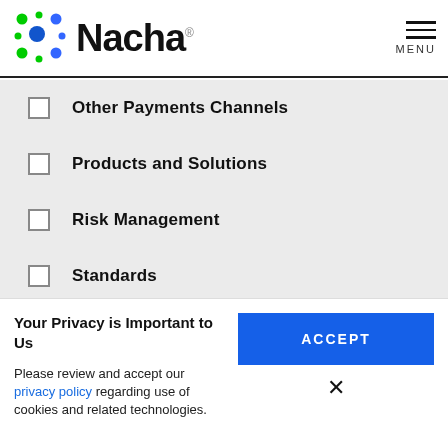[Figure (logo): Nacha logo with colorful dot grid pattern on the left and bold 'Nacha' text with registered trademark symbol]
Other Payments Channels
Products and Solutions
Risk Management
Standards
Training
Your Privacy is Important to Us
Please review and accept our privacy policy regarding use of cookies and related technologies.
ACCEPT
×